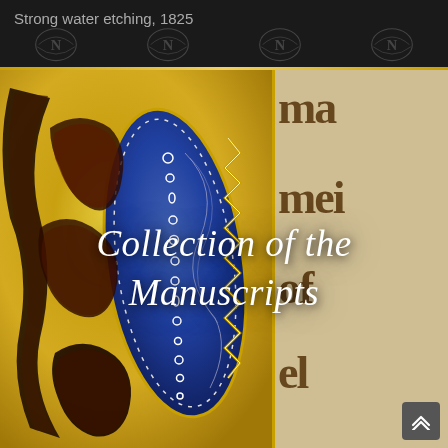Strong water etching, 1825
[Figure (photo): Close-up of an illuminated medieval manuscript page showing ornate gold and blue decorative lettering with intricate patterns on the left, and gothic blackletter text on a parchment-colored background on the right.]
Collection of the Manuscripts